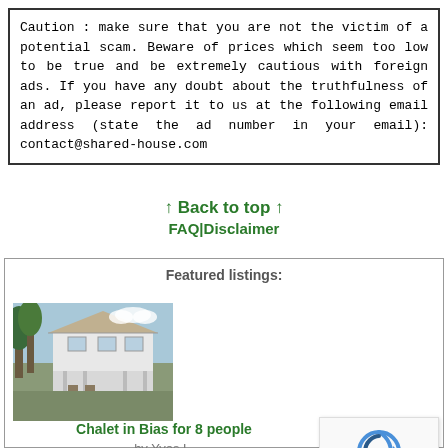Caution : make sure that you are not the victim of a potential scam. Beware of prices which seem too low to be true and be extremely cautious with foreign ads. If you have any doubt about the truthfulness of an ad, please report it to us at the following email address (state the ad number in your email): contact@shared-house.com
↑ Back to top ↑
FAQ|Disclaimer
Featured listings:
[Figure (photo): Photo of a white chalet/house with trees in the background]
Chalet in Bias for 8 people
by Yves L.
House in Saidia for 9 people
by Lamnouar B.